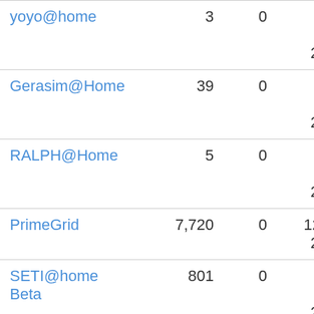| yoyo@home | 3 | 0 | 11 Aug 2007 |
| Gerasim@Home | 39 | 0 | 23 Jun 2007 |
| RALPH@Home | 5 | 0 | 16 Feb 2006 |
| PrimeGrid | 7,720 | 0 | 12 Jul 2005 |
| SETI@home Beta | 801 | 0 | 16 Jun 2005 |
| SETI@home | 43,762 | 0 | 16 Feb 2001 |
| Rosetta@home | 8,216 | 0 | 16 Sep ... |